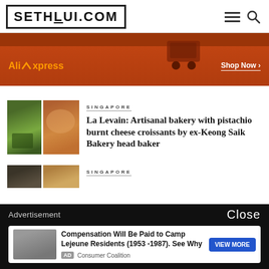SETHLUI.COM
[Figure (other): AliExpress advertisement banner with orange/brown background, shopping cart icon, AliExpress logo in orange, and Shop Now button]
SINGAPORE
La Levain: Artisanal bakery with pistachio burnt cheese croissants by ex-Keong Saik Bakery head baker
[Figure (photo): Food thumbnail image showing green pistachio croissant and orange/brown pastry]
SINGAPORE
[Figure (screenshot): Bottom advertisement overlay: dark background with 'Advertisement' label and 'Close' button. Ad card for 'Compensation Will Be Paid to Camp Lejeune Residents (1953-1987). See Why' from Consumer Coalition with VIEW MORE button]